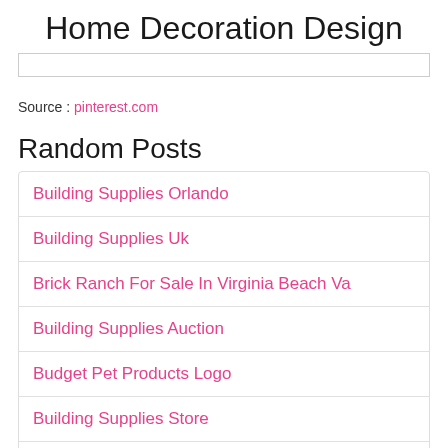Home Decoration Design
Source : pinterest.com
Random Posts
Building Supplies Orlando
Building Supplies Uk
Brick Ranch For Sale In Virginia Beach Va
Building Supplies Auction
Budget Pet Products Logo
Building Supplies Store
C 130 Bathroom